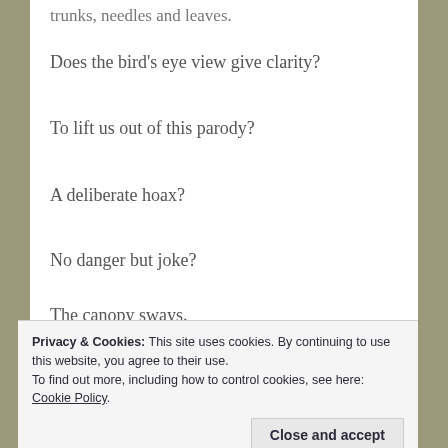trunks, needles and leaves.
Does the bird’s eye view give clarity?
To lift us out of this parody?
A deliberate hoax?
No danger but joke?
The canopy sways.
Privacy & Cookies: This site uses cookies. By continuing to use this website, you agree to their use.
To find out more, including how to control cookies, see here: Cookie Policy
Close and accept